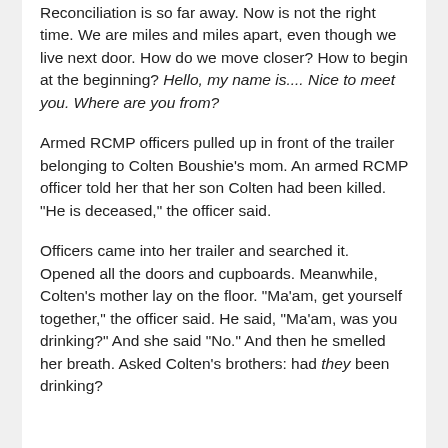Reconciliation is so far away. Now is not the right time. We are miles and miles apart, even though we live next door. How do we move closer? How to begin at the beginning? Hello, my name is.... Nice to meet you. Where are you from?
Armed RCMP officers pulled up in front of the trailer belonging to Colten Boushie's mom. An armed RCMP officer told her that her son Colten had been killed. "He is deceased," the officer said.
Officers came into her trailer and searched it. Opened all the doors and cupboards. Meanwhile, Colten's mother lay on the floor. "Ma'am, get yourself together," the officer said. He said, "Ma'am, was you drinking?" And she said "No." And then he smelled her breath. Asked Colten's brothers: had they been drinking?
[partially visible text cut off at bottom]